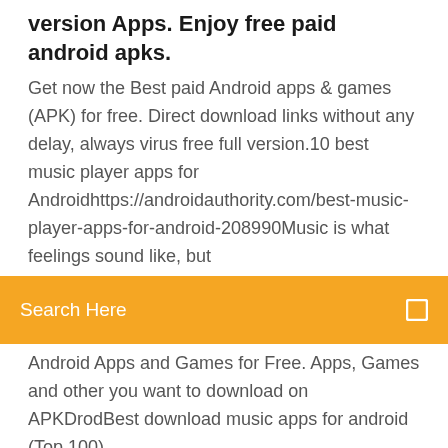version Apps. Enjoy free paid android apks.
Get now the Best paid Android apps & games (APK) for free. Direct download links without any delay, always virus free full version.10 best music player apps for Androidhttps://androidauthority.com/best-music-player-apps-for-android-208990Music is what feelings sound like, but
[Figure (other): Orange/amber search bar with 'Search Here' text in white and a small square icon on the right]
Android Apps and Games for Free. Apps, Games and other you want to download on APKDrodBest download music apps for android (Top 100) – AppCrawlrhttps://appcrawlr.com/android-apps/best-apps-download-musicDiscover the top 100 best download music apps for android free and paid. Top android apps for download music in AppCrawlr! Handpicked selection of the best discounted and temporarily free android apps and games on Google Play - update daily Here we present listed information of top ten free Music recording apps for Android. Read more Here about more versions Android